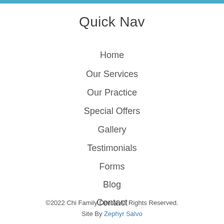Quick Nav
Home
Our Services
Our Practice
Special Offers
Gallery
Testimonials
Forms
Blog
Contact
©2022 Chi Family Dental All Rights Reserved. Site By Zephyr Salvo